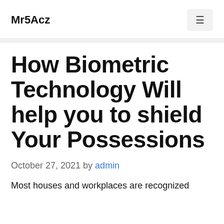Mr5Acz
How Biometric Technology Will help you to shield Your Possessions
October 27, 2021 by admin
Most houses and workplaces are recognized